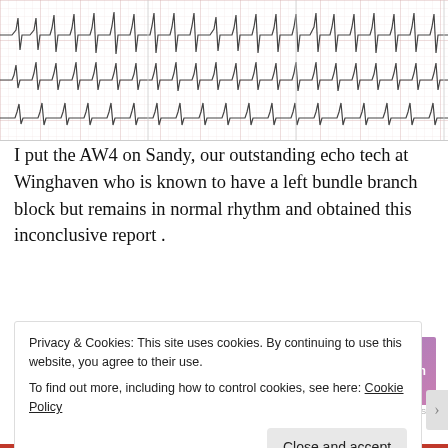[Figure (continuous-plot): ECG/cardiac rhythm strip showing waveform traces on a gridded background, multiple leads visible]
I put the AW4 on Sandy, our outstanding echo tech at Winghaven who is known to have a left bundle branch block but remains in normal rhythm and obtained this inconclusive report .
Advertisements
[Figure (other): WordPress.com advertisement banner with text 'Simplified pricing for everything you need.' and WordPress.com logo on a blue-to-purple gradient background]
REPORT THIS AD
Inconclusive — ♥ -- BPM Average
Privacy & Cookies: This site uses cookies. By continuing to use this website, you agree to their use.
To find out more, including how to control cookies, see here: Cookie Policy
Close and accept